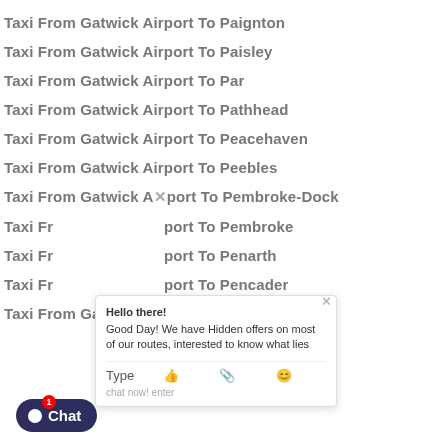Taxi From Gatwick Airport To Paignton
Taxi From Gatwick Airport To Paisley
Taxi From Gatwick Airport To Par
Taxi From Gatwick Airport To Pathhead
Taxi From Gatwick Airport To Peacehaven
Taxi From Gatwick Airport To Peebles
Taxi From Gatwick Airport To Pembroke-Dock
Taxi From Gatwick Airport To Pembroke
Taxi From Gatwick Airport To Penarth
Taxi From Gatwick Airport To Pencader
Taxi From Gatwick Airport To Penicuik